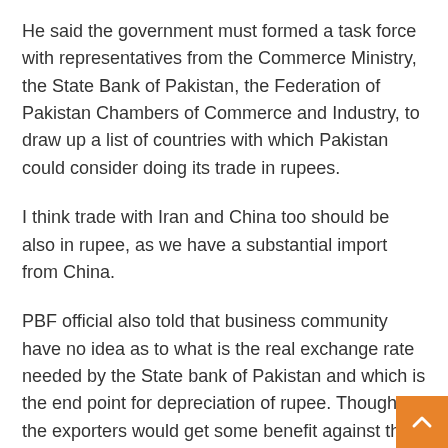He said the government must formed a task force with representatives from the Commerce Ministry, the State Bank of Pakistan, the Federation of Pakistan Chambers of Commerce and Industry, to draw up a list of countries with which Pakistan could consider doing its trade in rupees.
I think trade with Iran and China too should be also in rupee, as we have a substantial import from China.
PBF official also told that business community have no idea as to what is the real exchange rate needed by the State bank of Pakistan and which is the end point for depreciation of rupee. Though the exporters would get some benefit against their export proceeds but the overall economy would face a tough time as the cost has been rising and finally it would affect consumption, which is the main wheel to run the economy.
“We are spending almost three dollars in imports for every dollar earned from exports and we cannot afford to keep